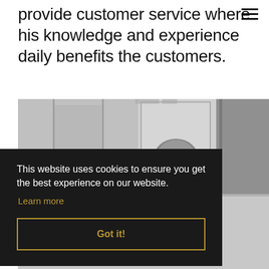provide customer service where his knowledge and experience daily benefits the customers.
[Figure (photo): Grayscale photograph of an interior space showing a room with a glass display case containing a football helmet, wooden panels visible on the right, and a light-colored floor.]
This website uses cookies to ensure you get the best experience on our website.
Learn more
Got it!